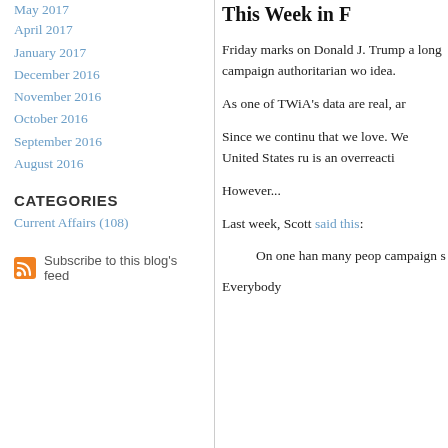May 2017
April 2017
January 2017
December 2016
November 2016
October 2016
September 2016
August 2016
CATEGORIES
Current Affairs (108)
Subscribe to this blog's feed
This Week in F
Friday marks on Donald J. Trump a long campaign authoritarian wo idea.
As one of TWiA's data are real, ar
Since we continu that we love. We United States ru is an overreacti
However...
Last week, Scott said this:
On one han many peop campaign s
Everybody